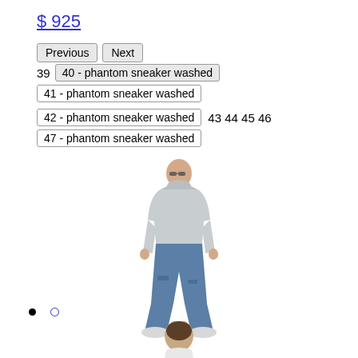$ 925
Previous | Next
39  40 - phantom sneaker washed
41 - phantom sneaker washed
42 - phantom sneaker washed  43 44 45 46
47 - phantom sneaker washed
[Figure (photo): Person wearing a grey hoodie, wide-leg distressed jeans, and white sneakers, standing facing forward with sunglasses.]
• ○
[Figure (photo): Head and shoulders of a person viewed from behind, with short dark hair, wearing a white garment.]